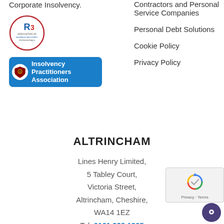Corporate Insolvency.
[Figure (logo): R3 Association of Business Recovery Professionals circular logo badge]
[Figure (logo): Insolvency Practitioners Association badge with blue background and shield icon]
Contractors and Personal Service Companies
Personal Debt Solutions
Cookie Policy
Privacy Policy
ALTRINCHAM
Lines Henry Limited,
5 Tabley Court,
Victoria Street,
Altrincham, Cheshire,
WA14 1EZ
Tel: 0161 929 1905
[Figure (logo): Google reCAPTCHA badge with checkbox icon and Privacy/Terms links]
[Figure (other): Purple circular chat button icon at bottom right]